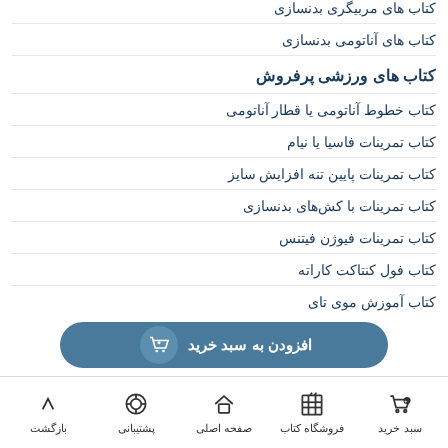کتاب های مربیگری بدنسازی
کتاب های آناتومی بدنسازی
کتاب های ورزشی پرفروش
کتاب خطوط آناتومی یا قطار آناتومی
کتاب تمرینات فاسیا یا نیام
کتاب تمرینات پایین تنه افزایش سایز
کتاب تمرینات با کش‌های بدنسازی
کتاب تمرینات فیوژن فیتنس
کتاب فول کنتاکت کاراته
کتاب آموزش موی تای
[Figure (other): افزودن به سبد خرید button with cart icon]
بازگشت | پشتیبانی | صفحه اصلی | فروشگاه کتاب | سبد خرید